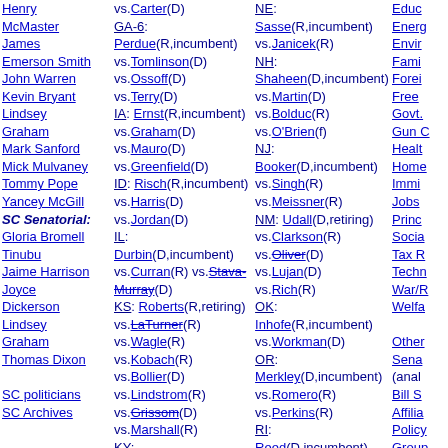Henry McMaster James Emerson Smith John Warren Kevin Bryant Lindsey Graham Mark Sanford Mick Mulvaney Tommy Pope Yancey McGill SC Senatorial: Gloria Bromell Tinubu Jaime Harrison Joyce Dickerson Lindsey Graham Thomas Dixon SC politicians SC Archives
vs.Carter(D) GA-6: Perdue(R,incumbent) vs.Tomlinson(D) vs.Ossoff(D) vs.Terry(D) IA: Ernst(R,incumbent) vs.Graham(D) vs.Mauro(D) vs.Greenfield(D) ID: Risch(R,incumbent) vs.Harris(D) vs.Jordan(D) IL: Durbin(D,incumbent) vs.Curran(R) vs.Stava-Murray(D) KS: Roberts(R,retiring) vs.LaTurner(R) vs.Wagle(R) vs.Kobach(R) vs.Bollier(D) vs.Lindstrom(R) vs.Grissom(D) vs.Marshall(R) KY: McConnell(R,incumbent) vs.McGrath(D) vs.Morgan(R) vs.Cox(D) vs.Tobin(D) vs.Booker(D) LA:
NE: Sasse(R,incumbent) vs.Janicek(R) NH: Shaheen(D,incumbent) vs.Martin(D) vs.Bolduc(R) vs.O'Brien(f) NJ: Booker(D,incumbent) vs.Singh(R) vs.Meissner(R) NM: Udall(D,retiring) vs.Clarkson(R) vs.Oliver(D) vs.Lujan(D) vs.Rich(R) OK: Inhofe(R,incumbent) vs.Workman(D) OR: Merkley(D,incumbent) vs.Romero(R) vs.Perkins(R) RI: Reed(D,incumbent) vs.Waters(R) SC: Graham(R,incumbent) vs.Tinubu(D) vs.Harrison(D) SD:
Educ Energ Envir Fami Forei Free Govt. Gun Healt Home Immi Jobs Princ Socia Tax R Techn War/R Welfa Other Sena (anal Bill S Affilia Policy Grou